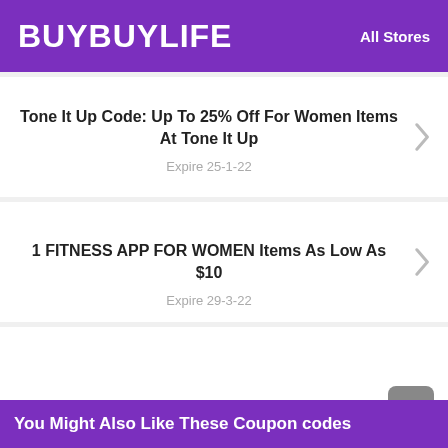BUYBUYLIFE  All Stores
Tone It Up Code: Up To 25% Off For Women Items At Tone It Up
Expire 25-1-22
1 FITNESS APP FOR WOMEN Items As Low As $10
Expire 29-3-22
Using Tone It Up Code Up To 15% Off Store-Wide
Expire 3-5-22
You Might Also Like These Coupon codes